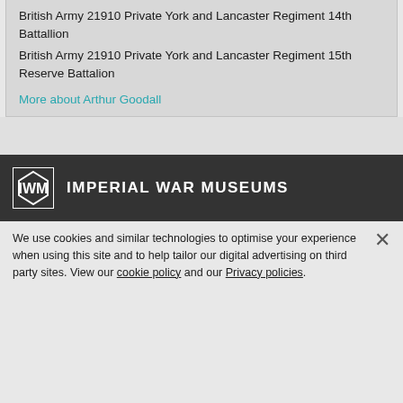British Army 21910 Private York and Lancaster Regiment 14th Battallion
British Army 21910 Private York and Lancaster Regiment 15th Reserve Battalion
More about Arthur Goodall
[Figure (logo): IWM Imperial War Museums logo — white IWM box logo and white uppercase text on dark background]
We use cookies and similar technologies to optimise your experience when using this site and to help tailor our digital advertising on third party sites. View our cookie policy and our Privacy policies.